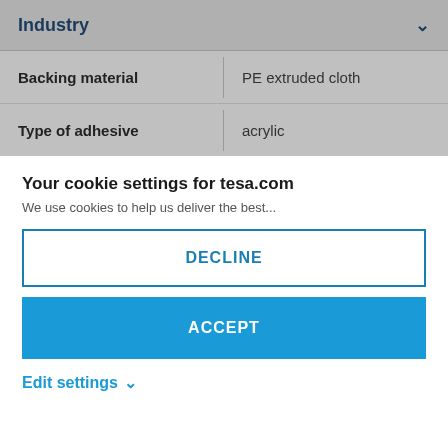Industry
| Property | Value |
| --- | --- |
| Backing material | PE extruded cloth |
| Type of adhesive | acrylic |
Your cookie settings for tesa.com
We use cookies to help us...
DECLINE
ACCEPT
Edit settings